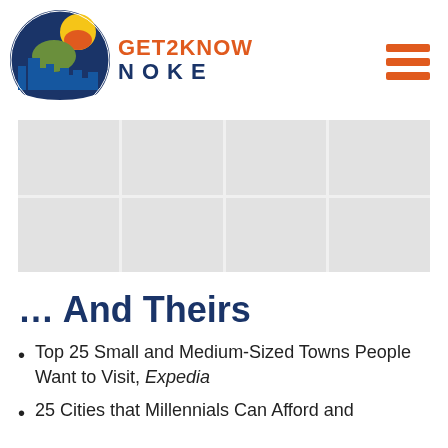[Figure (logo): Get2Know Noke logo: circular emblem with sun, mountains, city skyline in blue, green, yellow, and orange; text 'GET2KNOW' in orange and 'N O K E' in dark blue]
[Figure (other): Hamburger menu icon: three horizontal orange bars]
[Figure (photo): Grid of placeholder/thumbnail images arranged in 2 rows and 4 columns, shown as light gray boxes]
… And Theirs
Top 25 Small and Medium-Sized Towns People Want to Visit, Expedia
25 Cities that Millennials Can Afford and